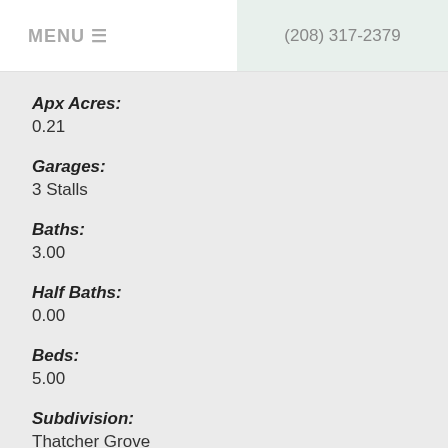MENU   (208) 317-2379
Apx Acres:
0.21
Garages:
3 Stalls
Baths:
3.00
Half Baths:
0.00
Beds:
5.00
Subdivision:
Thatcher Grove